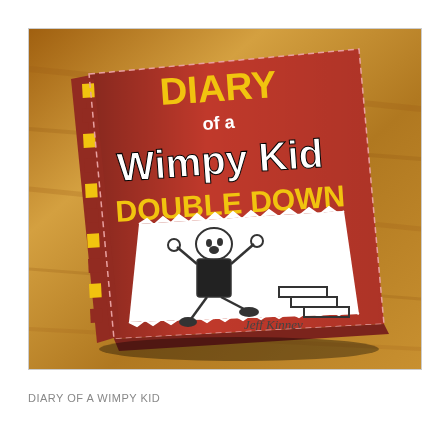[Figure (photo): Photo of the hardcover book 'Diary of a Wimpy Kid: Double Down' by Jeff Kinney. The book has a red cover with yellow title text 'DIARY of a Wimpy Kid' and 'DOUBLE DOWN' in yellow. A cartoon illustration on the cover shows a boy falling down stairs. The book is photographed on a wooden floor surface.]
DIARY OF A WIMPY KID